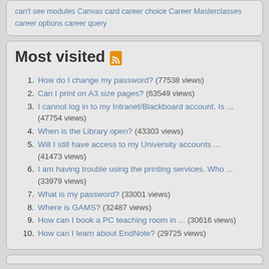can't see modules Canvas card career choice Career Masterclasses career options career query
Most visited
How do I change my password? (77538 views)
Can I print on A3 size pages? (63549 views)
I cannot log in to my Intranet/Blackboard account. Is ... (47754 views)
When is the Library open? (43303 views)
Will I still have access to my University accounts ... (41473 views)
I am having trouble using the printing services. Who ... (33979 views)
What is my password? (33001 views)
Where is GAMS? (32487 views)
How can I book a PC teaching room in ... (30616 views)
How can I learn about EndNote? (29725 views)